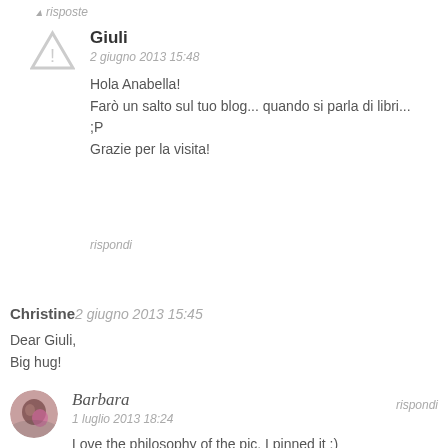risposte
Giuli
2 giugno 2013 15:48

Hola Anabella!
Farò un salto sul tuo blog... quando si parla di libri...
;P
Grazie per la visita!
rispondi
Christine 2 giugno 2013 15:45

Dear Giuli,
Big hug!
rispondi
Barbara
1 luglio 2013 18:24

Love the philosophy of the pic. I pinned it :)